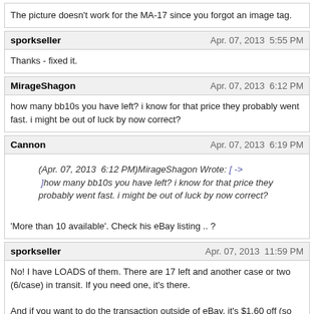The picture doesn't work for the MA-17 since you forgot an image tag.
sporkseller — Apr. 07, 2013  5:55 PM
Thanks - fixed it.
MirageShagon — Apr. 07, 2013  6:12 PM
how many bb10s you have left? i know for that price they probably went fast. i might be out of luck by now correct?
Cannon — Apr. 07, 2013  6:19 PM
(Apr. 07, 2013  6:12 PM)MirageShagon Wrote: [->] how many bb10s you have left? i know for that price they probably went fast. i might be out of luck by now correct?
'More than 10 available'. Check his eBay listing .. ?
sporkseller — Apr. 07, 2013  11:59 PM
No! I have LOADS of them. There are 17 left and another case or two (6/case) in transit. If you need one, it's there.

And if you want to do the transaction outside of eBay, it's $1.60 off (so